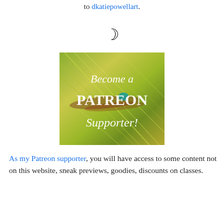My Instagram posts may be reposted, please link back to dkatiepowellart.
☽
[Figure (illustration): Promotional image with green brushstroke background and text reading 'Become a PATREON Supporter!']
As my Patreon supporter, you will have access to some content not on this website, sneak previews, goodies, discounts on classes.